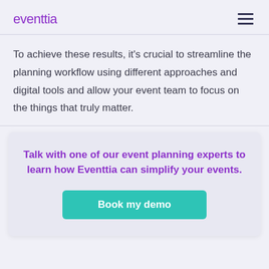eventtia
To achieve these results, it's crucial to streamline the planning workflow using different approaches and digital tools and allow your event team to focus on the things that truly matter.
Talk with one of our event planning experts to learn how Eventtia can simplify your events.
Book my demo